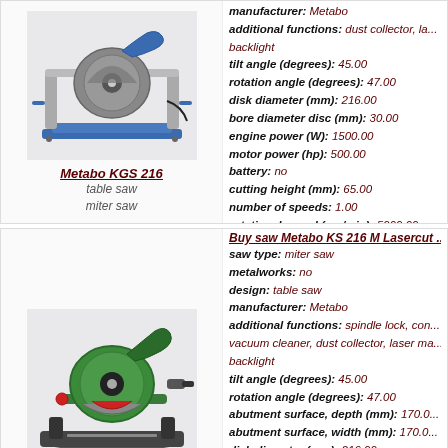[Figure (photo): Metabo KGS 216 table saw / miter saw product image]
Metabo KGS 216
table saw
miter saw
manufacturer: Metabo
additional functions: dust collector, la... backlight
tilt angle (degrees): 45.00
rotation angle (degrees): 47.00
disk diameter (mm): 216.00
bore diameter disc (mm): 30.00
engine power (W): 1500.00
motor power (hp): 500.00
battery: no
cutting height (mm): 65.00
number of speeds: 1.00
rotational speed (rev/min): 5000.00
weight (kg): 14.00
more information
Buy saw Metabo KS 216 M Lasercut ...
saw type: miter saw
metalworks: no
design: table saw
manufacturer: Metabo
additional functions: spindle lock, con... vacuum cleaner, dust collector, laser ma... backlight
tilt angle (degrees): 45.00
rotation angle (degrees): 47.00
abutment surface, depth (mm): 170.0
abutment surface, width (mm): 170.0
disk diameter (mm): 216.00
bore diameter disc (mm): 30.00
engine power (W): 1350.00
motor power (hp): 350.00
[Figure (photo): Metabo KS 216 M Lasercut miter saw product image]